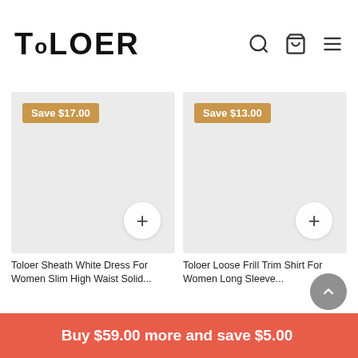TOLOER
[Figure (photo): Product image placeholder (light gray) with 'Save $17.00' badge and add-to-cart button]
Toloer Sheath White Dress For Women Slim High Waist Solid...
[Figure (photo): Product image placeholder (light gray) with 'Save $13.00' badge and add-to-cart button]
Toloer Loose Frill Trim Shirt For Women Long Sleeve...
Buy $59.00 more and save $5.00